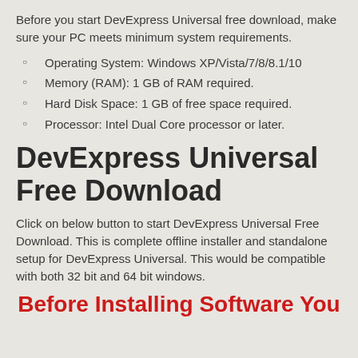Before you start DevExpress Universal free download, make sure your PC meets minimum system requirements.
Operating System: Windows XP/Vista/7/8/8.1/10
Memory (RAM): 1 GB of RAM required.
Hard Disk Space: 1 GB of free space required.
Processor: Intel Dual Core processor or later.
DevExpress Universal Free Download
Click on below button to start DevExpress Universal Free Download. This is complete offline installer and standalone setup for DevExpress Universal. This would be compatible with both 32 bit and 64 bit windows.
Before Installing Software You